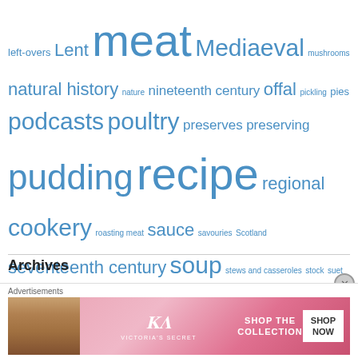left-overs Lent meat Mediaeval mushrooms natural history nature nineteenth century offal pickling pies podcasts poultry preserves preserving pudding recipe regional cookery roasting meat sauce savouries Scotland seventeenth century soup stews and casseroles stock suet pudding tarts Teatime treacle veal vegetables vegetarian Victorian Era Yorkshire
Archives
August 2022
July 2022
June 2022
[Figure (screenshot): Victoria's Secret advertisement banner with model, logo, 'SHOP THE COLLECTION' text and 'SHOP NOW' button on pink background]
Advertisements